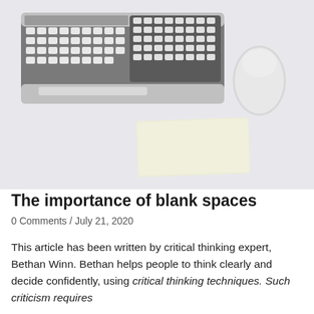[Figure (photo): Overhead view of a white desk with an Apple Magic Keyboard, Apple Magic Mouse, and a blank yellow sticky note pad placed on the desk surface.]
The importance of blank spaces
0 Comments / July 21, 2020
This article has been written by critical thinking expert, Bethan Winn. Bethan helps people to think clearly and decide confidently, using critical thinking techniques. Such criticism requires